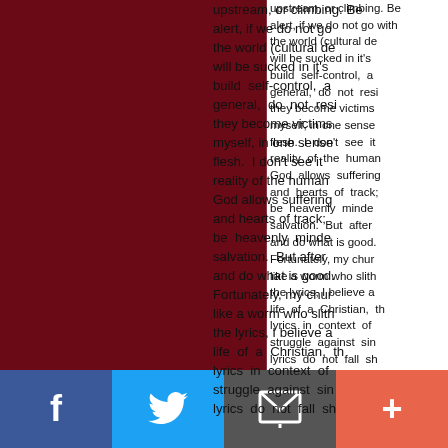[Figure (photo): Dark crimson/maroon colored rectangular image taking up the left portion of the page]
upstream, or climbing. Be alert, if we do not go with the world (cultural de... will be sucked in it's... build self-control, a... general, do not resi... they become victims... myself, in one sense... flesh. I don't see it... reality of the human... God allows suffering... and hearts of track;... be heavenly minde... salvation. But after... and do what is good.... Fortunately, my chur... like a worm who slith... the lyrics, I believe a... life of a Christian, th... lyrics in context of... struggle against sin... lyrics do not fall sh...
[Figure (infographic): Social media sharing bar with Facebook (blue), Twitter (light blue), Email/envelope (gray), and Add/plus (orange-red) buttons]